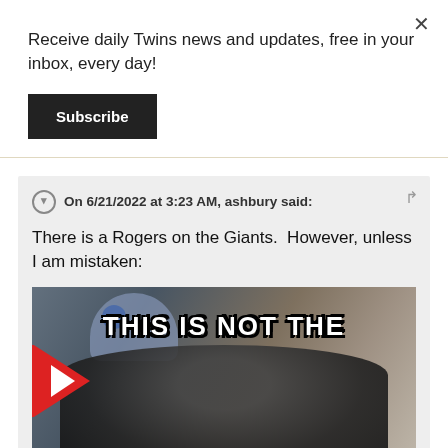Receive daily Twins news and updates, free in your inbox, every day!
Subscribe
On 6/21/2022 at 3:23 AM, ashbury said:
There is a Rogers on the Giants.  However, unless I am mistaken:
[Figure (screenshot): Video still showing a meme image with text 'THIS IS NOT THE' overlaid on a dark figure resembling a Star Wars scene, with a red play button on the left side]
Expand ▾